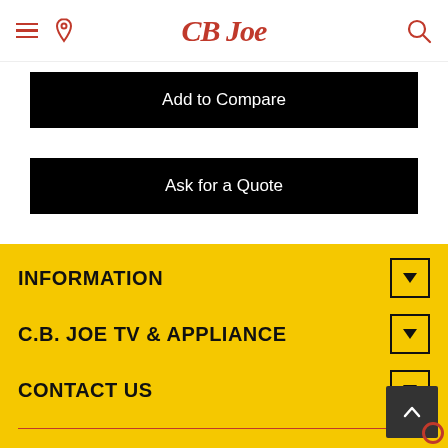CB JOE navigation header with hamburger menu, location icon, logo, and search icon
Add to Compare
Ask for a Quote
INFORMATION
C.B. JOE TV & APPLIANCE
CONTACT US